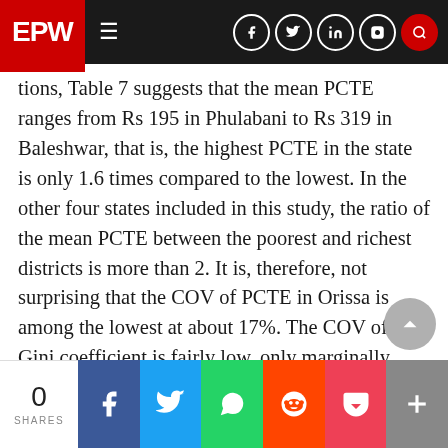EPW
tions, Table 7 suggests that the mean PCTE ranges from Rs 195 in Phulabani to Rs 319 in Baleshwar, that is, the highest PCTE in the state is only 1.6 times compared to the lowest. In the other four states included in this study, the ratio of the mean PCTE between the poorest and richest districts is more than 2. It is, therefore, not surprising that the COV of PCTE in Orissa is among the lowest at about 17%. The COV of the Gini coefficient is fairly low, only marginally higher than the COV of the Gini c oefficient in Kerala.
As said earlier, Orissa has had the highest level of
0 SHARES  [Facebook] [Twitter] [WhatsApp] [Reddit] [Pocket] [More]